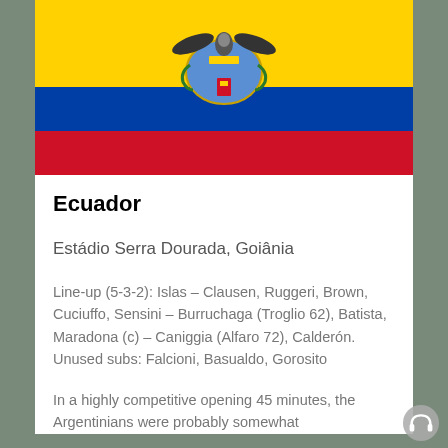[Figure (illustration): Ecuador flag — horizontal stripes: yellow at top, blue in middle, red at bottom, with coat of arms centered on the blue stripe]
Ecuador
Estádio Serra Dourada, Goiânia
Line-up (5-3-2): Islas – Clausen, Ruggeri, Brown, Cuciuffo, Sensini – Burruchaga (Troglio 62), Batista, Maradona (c) – Caniggia (Alfaro 72), Calderón. Unused subs: Falcioni, Basualdo, Gorosito
In a highly competitive opening 45 minutes, the Argentinians were probably somewhat